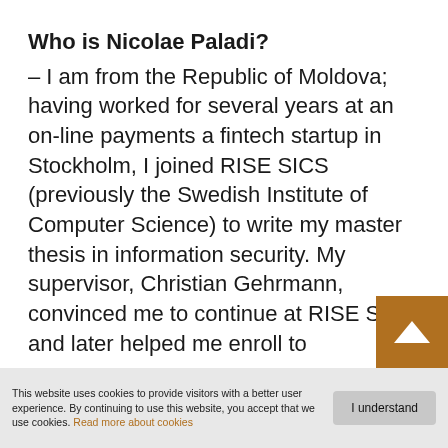Who is Nicolae Paladi?
– I am from the Republic of Moldova; having worked for several years at an on-line payments a fintech startup in Stockholm, I joined RISE SICS (previously the Swedish Institute of Computer Science) to write my master thesis in information security. My supervisor, Christian Gehrmann, convinced me to continue at RISE SICS and later helped me enroll to
This website uses cookies to provide visitors with a better user experience. By continuing to use this website, you accept that we use cookies. Read more about cookies